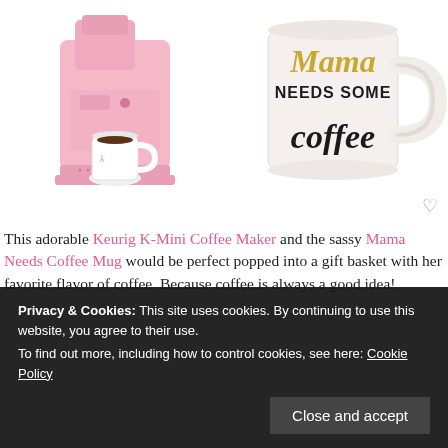[Figure (photo): Pink Keurig K-Mini Coffee Maker on left, white ceramic 'Mama needs some coffee' mug on right]
This adorable Keurig K-Mini Coffee Maker and the sassy Mama Needs Coffee Mug would be perfect popped into a gift basket with her favorite flavor of coffee. Because coffee is always a good idea!
Privacy & Cookies: This site uses cookies. By continuing to use this website, you agree to their use. To find out more, including how to control cookies, see here: Cookie Policy Close and accept